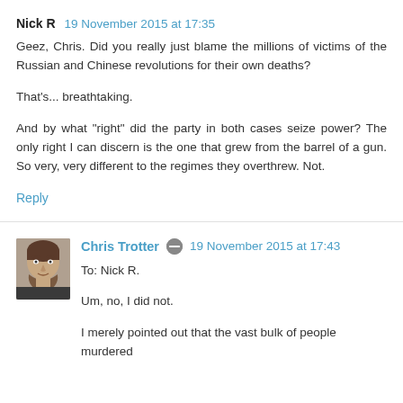Nick R  19 November 2015 at 17:35
Geez, Chris. Did you really just blame the millions of victims of the Russian and Chinese revolutions for their own deaths?

That's... breathtaking.

And by what "right" did the party in both cases seize power? The only right I can discern is the one that grew from the barrel of a gun. So very, very different to the regimes they overthrew. Not.
Reply
Chris Trotter  19 November 2015 at 17:43
To: Nick R.

Um, no, I did not.

I merely pointed out that the vast bulk of people murdered